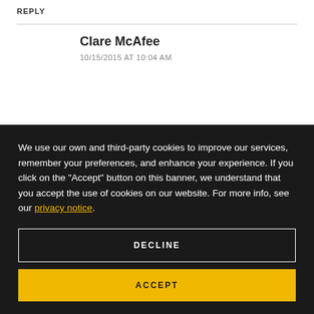REPLY
Clare McAfee
10/15/2015 AT 10:04 AM
We use our own and third-party cookies to improve our services, remember your preferences, and enhance your experience. If you click on the "Accept" button on this banner, we understand that you accept the use of cookies on our website. For more info, see our privacy notice.
DECLINE
ACCEPT